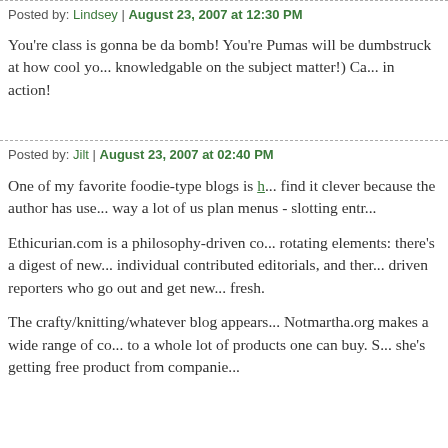Posted by: Lindsey | August 23, 2007 at 12:30 PM
You're class is gonna be da bomb! You're Pumas will be dumbstruck at how cool yo... knowledgable on the subject matter!) Ca... in action!
Posted by: Jilt | August 23, 2007 at 02:40 PM
One of my favorite foodie-type blogs is h... find it clever because the author has use... way a lot of us plan menus - slotting entr...
Ethicurian.com is a philosophy-driven co... rotating elements: there's a digest of new... individual contributed editorials, and ther... driven reporters who go out and get new... fresh.
The crafty/knitting/whatever blog appears... Notmartha.org makes a wide range of co... to a whole lot of products one can buy. S... she's getting free product from companie...